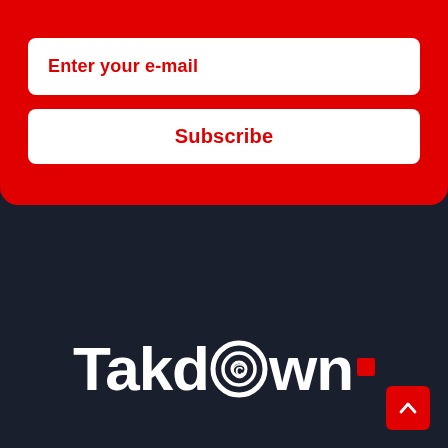Enter your e-mail
Subscribe
[Figure (logo): Takedown logo in white bold text on dark navy background, with a copyright/target circle icon replacing the letter 'o' in 'down', and a red square dot at the end]
[Figure (other): Red square scroll-to-top button with white upward chevron arrow in bottom right corner]